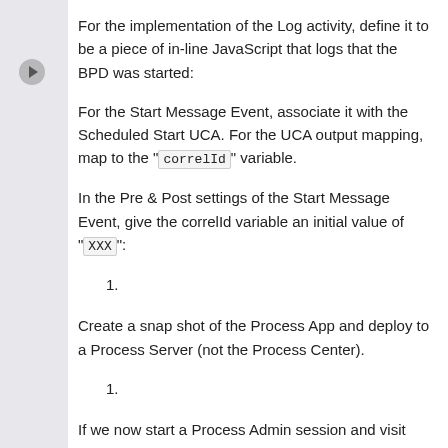For the implementation of the Log activity, define it to be a piece of in-line JavaScript that logs that the BPD was started:
For the Start Message Event, associate it with the Scheduled Start UCA. For the UCA output mapping, map to the "correlId" variable.
In the Pre & Post settings of the Start Message Event, give the correlId variable an initial value of "XXX":
1.
Create a snap shot of the Process App and deploy to a Process Server (not the Process Center).
1.
If we now start a Process Admin session and visit